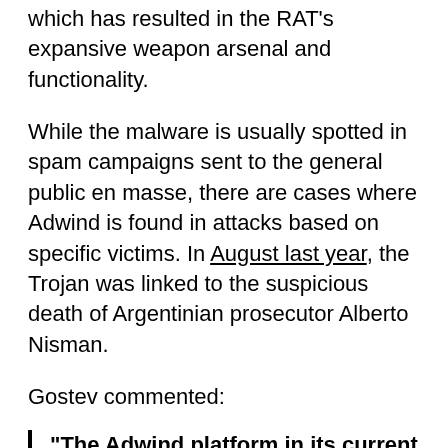which has resulted in the RAT's expansive weapon arsenal and functionality.
While the malware is usually spotted in spam campaigns sent to the general public en masse, there are cases where Adwind is found in attacks based on specific victims. In August last year, the Trojan was linked to the suspicious death of Argentinian prosecutor Alberto Nisman.
Gostev commented:
"The Adwind platform in its current state lowers significantly the minimum amount of professional knowledge required by a potential criminal looking to enter the area of cybercrime.